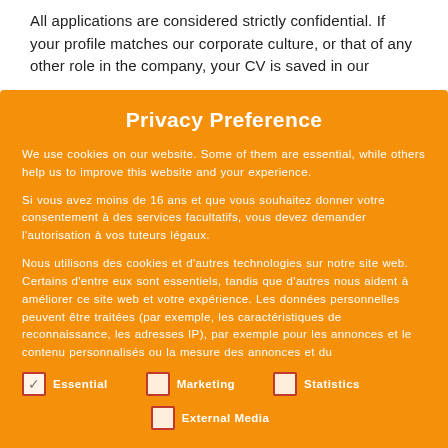All applications are considered strictly confidential. If your profile matches our corporate culture, or that of any other role in the company, your CV is saved in our
Privacy Preference
We use cookies on our website. Some of them are essential, while others help us to improve this website and your experience.
Si vous avez moins de 16 ans et que vous souhaitez donner votre consentement à des services facultatifs, vous devez demander l'autorisation à vos tuteurs légaux.
Nous utilisons des cookies et d'autres technologies sur notre site web. Certains d'entre eux sont essentiels, tandis que d'autres nous aident à améliorer ce site web et votre expérience. Les données personnelles peuvent être traitées (par exemple, les caractéristiques de reconnaissance, les adresses IP), par exemple pour les annonces et le contenu personnalisés ou la mesure des annonces et du
Essential
Marketing
Statistics
External Media